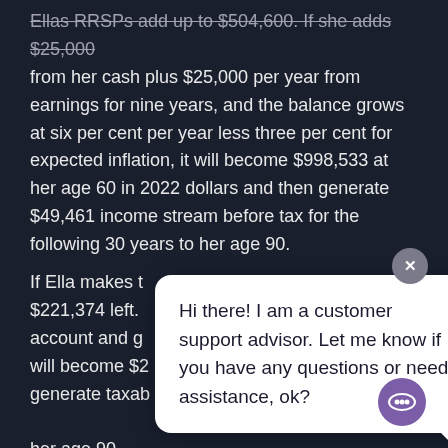Ellas RRSPs add up to $504,600. If she adds $25,000 from her cash plus $25,000 per year from earnings for nine years, and the balance grows at six per cent per year less three per cent for expected inflation, it will become $998,533 at her age 60 in 2022 dollars and then generate $49,461 income stream before tax for the following 30 years to her age 90.
If Ella makes t... $221,374 left. account and g... will become $2... generate taxab... her age 90.
[Figure (screenshot): Chat support popup bubble with text: 'Hi there! I am a customer support advisor. Let me know if you have any questions or need assistance, ok?' with a close button (X) and a purple chat icon button at bottom right.]